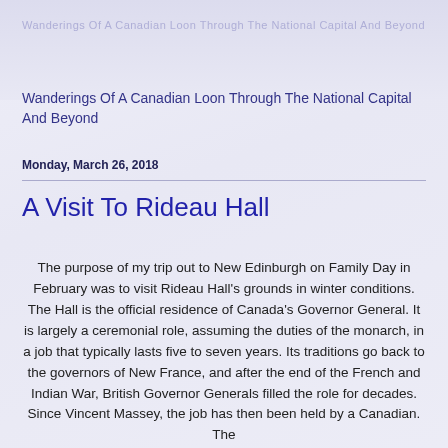Wanderings Of A Canadian Loon Through The National Capital And Beyond
Monday, March 26, 2018
A Visit To Rideau Hall
The purpose of my trip out to New Edinburgh on Family Day in February was to visit Rideau Hall's grounds in winter conditions. The Hall is the official residence of Canada's Governor General. It is largely a ceremonial role, assuming the duties of the monarch, in a job that typically lasts five to seven years. Its traditions go back to the governors of New France, and after the end of the French and Indian War, British Governor Generals filled the role for decades. Since Vincent Massey, the job has then been held by a Canadian. The...